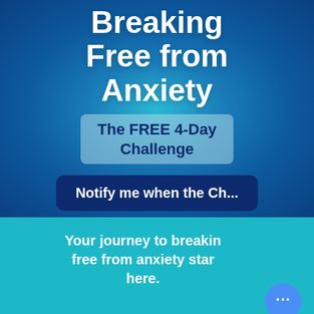Breaking Free from Anxiety
The FREE 4-Day Challenge
Notify me when the Ch...
Your journey to breaking free from anxiety starts here.